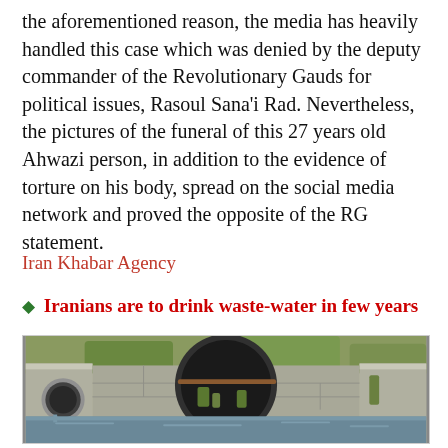the aforementioned reason, the media has heavily handled this case which was denied by the deputy commander of the Revolutionary Gauds for political issues, Rasoul Sana'i Rad. Nevertheless, the pictures of the funeral of this 27 years old Ahwazi person, in addition to the evidence of torture on his body, spread on the social media network and proved the opposite of the RG statement.
Iran Khabar Agency
♦ Iranians are to drink waste-water in few years
[Figure (photo): Photograph of a wastewater drainage channel with concrete walls, a large dark circular tunnel opening in the background, a pipe on the left side, and murky water flowing at the bottom. Vegetation grows along the edges.]